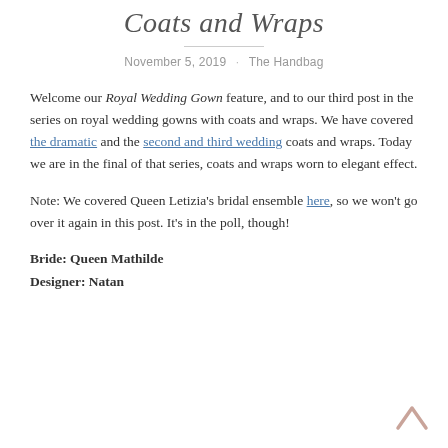Coats and Wraps
November 5, 2019 · The Handbag
Welcome our Royal Wedding Gown feature, and to our third post in the series on royal wedding gowns with coats and wraps. We have covered the dramatic and the second and third wedding coats and wraps. Today we are in the final of that series, coats and wraps worn to elegant effect.
Note: We covered Queen Letizia's bridal ensemble here, so we won't go over it again in this post. It's in the poll, though!
Bride: Queen Mathilde
Designer: Natan